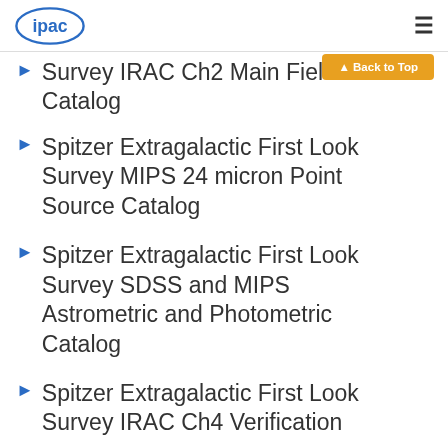ipac
Survey IRAC Ch2 Main Field Catalog
Spitzer Extragalactic First Look Survey MIPS 24 micron Point Source Catalog
Spitzer Extragalactic First Look Survey SDSS and MIPS Astrometric and Photometric Catalog
Spitzer Extragalactic First Look Survey IRAC Ch4 Verification